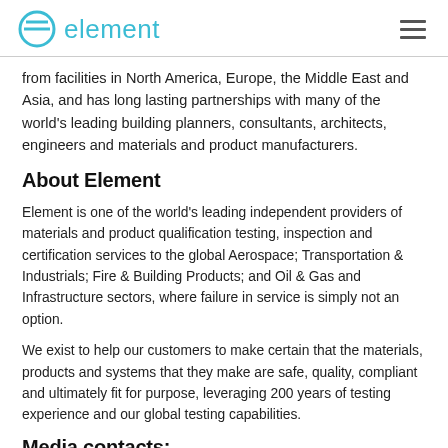element
from facilities in North America, Europe, the Middle East and Asia, and has long lasting partnerships with many of the world's leading building planners, consultants, architects, engineers and materials and product manufacturers.
About Element
Element is one of the world's leading independent providers of materials and product qualification testing, inspection and certification services to the global Aerospace; Transportation & Industrials; Fire & Building Products; and Oil & Gas and Infrastructure sectors, where failure in service is simply not an option.
We exist to help our customers to make certain that the materials, products and systems that they make are safe, quality, compliant and ultimately fit for purpose, leveraging 200 years of testing experience and our global testing capabilities.
Media contacts:
Bere Trimson, Communications Manager